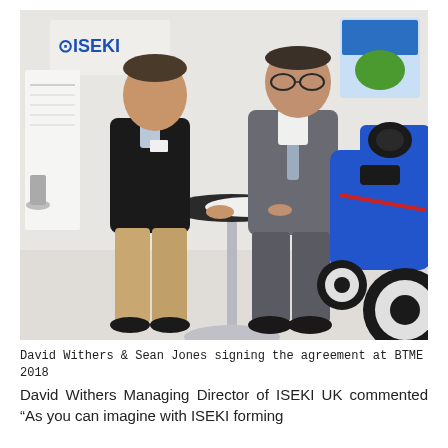[Figure (photo): Two men standing at a high round table signing an agreement. One man in a dark blazer and khaki pants, the other in a grey suit. A blue ISEKI tractor is visible to the right. An ISEKI logo banner is visible in the background.]
David Withers & Sean Jones signing the agreement at BTME 2018
David Withers Managing Director of ISEKI UK commented “As you can imagine with ISEKI forming